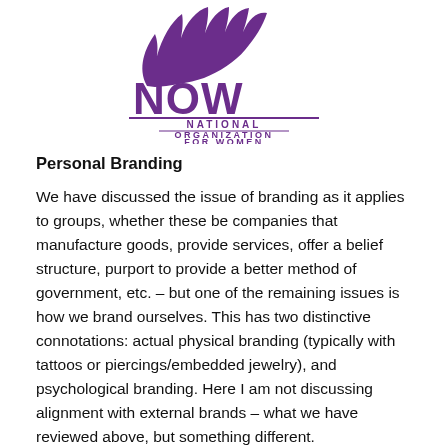[Figure (logo): NOW - National Organization for Women logo in purple with crown/hands icon above text]
Personal Branding
We have discussed the issue of branding as it applies to groups, whether these be companies that manufacture goods, provide services, offer a belief structure, purport to provide a better method of government, etc. – but one of the remaining issues is how we brand ourselves. This has two distinctive connotations: actual physical branding (typically with tattoos or piercings/embedded jewelry), and psychological branding. Here I am not discussing alignment with external brands – what we have reviewed above, but something different.